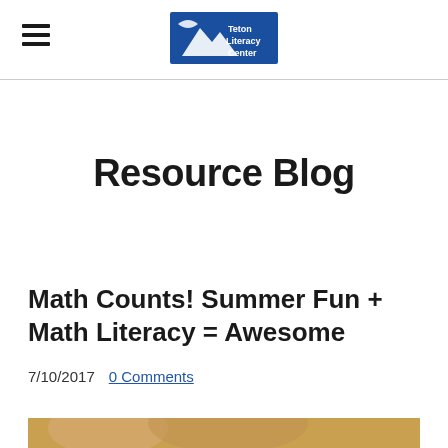Teton Literacy Center logo and navigation
Resource Blog
Math Counts! Summer Fun + Math Literacy = Awesome
7/10/2017  0 Comments
[Figure (photo): Bottom edge of a photo showing a person's face, partially cropped]